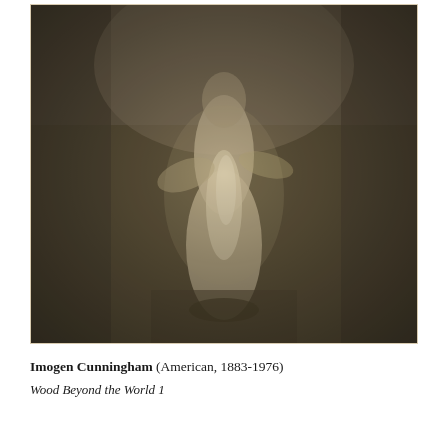[Figure (photo): A sepia-toned early 20th century photograph showing a figure in flowing white robes or drapery standing outdoors in a wooded or garden setting. The image is soft-focus and atmospheric, characteristic of Pictorialist photography. The figure appears to be walking or posed among trees and foliage.]
Imogen Cunningham (American, 1883-1976)
Wood Beyond the World 1